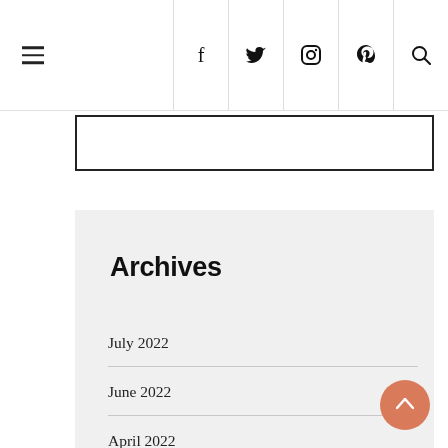Navigation header with hamburger menu and social icons (f, twitter, instagram, pinterest, search)
Archives
July 2022
June 2022
April 2022
March 2022
February 2022